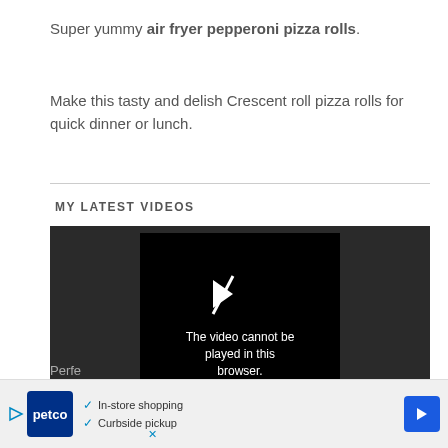Super yummy air fryer pepperoni pizza rolls.
Make this tasty and delish Crescent roll pizza rolls for quick dinner or lunch.
MY LATEST VIDEOS
[Figure (screenshot): Video player showing error message: The video cannot be played in this browser. (Error Code: 242632)]
[Figure (other): Petco advertisement banner showing In-store shopping and Curbside pickup options]